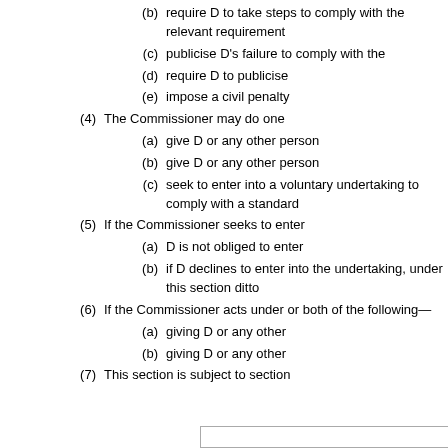(b) require D to take steps to comply with a relevant requirement
(c) publicise D's failure to comply with a relevant requirement
(d) require D to publicise that failure
(e) impose a civil penalty on D.
(4) The Commissioner may do one or more of the following—
(a) give D or any other person information or advice
(b) give D or any other person a warning
(c) seek to enter into a voluntary undertaking with D to comply with a standard
(5) If the Commissioner seeks to enter into a voluntary undertaking—
(a) D is not obliged to enter into the undertaking
(b) if D declines to enter into the undertaking, D's powers under this section differ
(6) If the Commissioner acts under this section, the Commissioner must do one or both of the following—
(a) giving D or any other person information or advice
(b) giving D or any other person a warning
(7) This section is subject to section